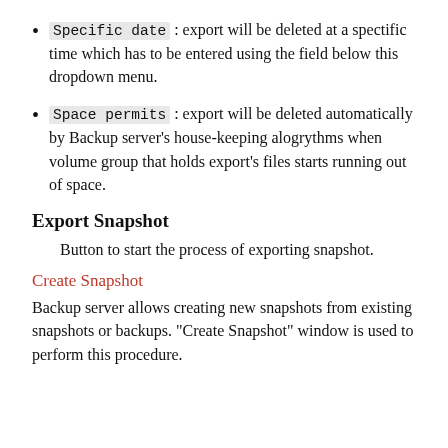Specific date: export will be deleted at a spectific time which has to be entered using the field below this dropdown menu.
Space permits: export will be deleted automatically by Backup server's house-keeping alogrythms when volume group that holds export's files starts running out of space.
Export Snapshot
Button to start the process of exporting snapshot.
Create Snapshot
Backup server allows creating new snapshots from existing snapshots or backups. "Create Snapshot" window is used to perform this procedure.